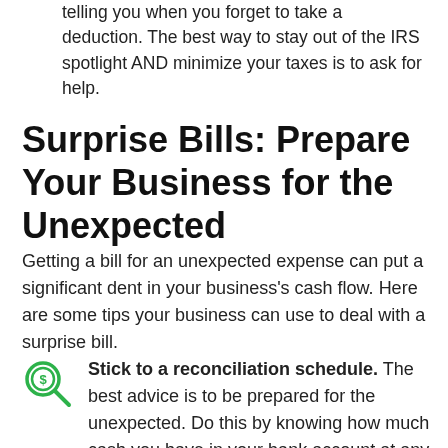telling you when you forget to take a deduction. The best way to stay out of the IRS spotlight AND minimize your taxes is to ask for help.
Surprise Bills: Prepare Your Business for the Unexpected
Getting a bill for an unexpected expense can put a significant dent in your business's cash flow. Here are some tips your business can use to deal with a surprise bill.
Stick to a reconciliation schedule. The best advice is to be prepared for the unexpected. Do this by knowing how much cash you have in your bank account at any given time. This is done by sticking to a consistent bank reconciliation schedule. One option is to…